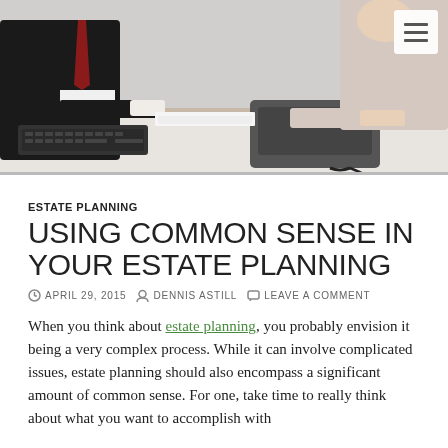[Figure (photo): Two people sitting at a desk in a business meeting, one in a dark suit with red tie, the other in a light top, with a keyboard and telephone on the desk]
ESTATE PLANNING
USING COMMON SENSE IN YOUR ESTATE PLANNING
APRIL 29, 2015   DENNIS ASTILL   LEAVE A COMMENT
When you think about estate planning, you probably envision it being a very complex process. While it can involve complicated issues, estate planning should also encompass a significant amount of common sense. For one, take time to really think about what you want to accomplish with...